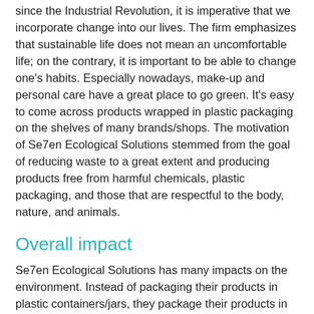since the Industrial Revolution, it is imperative that we incorporate change into our lives. The firm emphasizes that sustainable life does not mean an uncomfortable life; on the contrary, it is important to be able to change one's habits. Especially nowadays, make-up and personal care have a great place to go green. It's easy to come across products wrapped in plastic packaging on the shelves of many brands/shops. The motivation of Se7en Ecological Solutions stemmed from the goal of reducing waste to a great extent and producing products free from harmful chemicals, plastic packaging, and those that are respectful to the body, nature, and animals.
Overall impact
Se7en Ecological Solutions has many impacts on the environment. Instead of packaging their products in plastic containers/jars, they package their products in glass jars. Moreover, they offer to take back the finished jars from their customers post their usage, and re-use them. Thus, they create a sense of responsibility in their consumers as well as